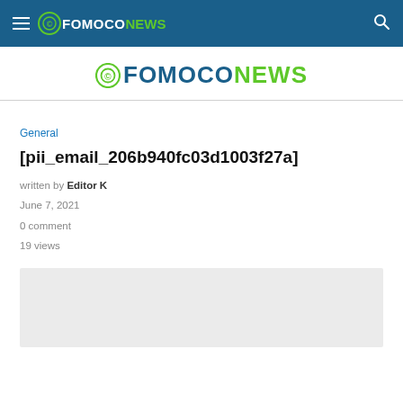FOMOCONEWS — navigation bar with hamburger menu, logo, and search icon
[Figure (logo): FOMOCONEWS logo — circular coin icon followed by FOMOCO in dark teal and NEWS in green, large centered display]
General
[pii_email_206b940fc03d1003f27a]
written by Editor K
June 7, 2021
0 comment
19 views
[Figure (photo): Light gray image placeholder box]